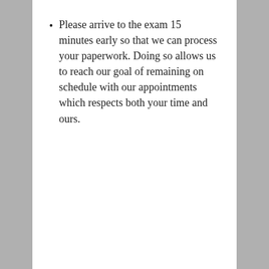Please arrive to the exam 15 minutes early so that we can process your paperwork. Doing so allows us to reach our goal of remaining on schedule with our appointments which respects both your time and ours.